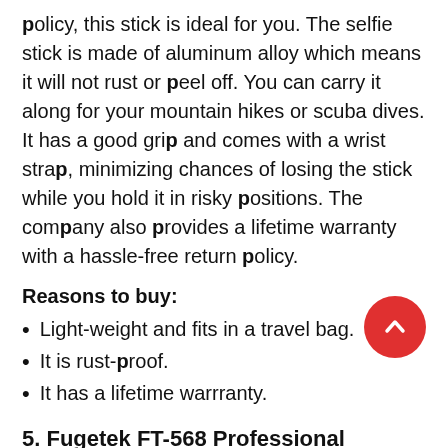policy, this stick is ideal for you. The selfie stick is made of aluminum alloy which means it will not rust or peel off. You can carry it along for your mountain hikes or scuba dives. It has a good grip and comes with a wrist strap, minimizing chances of losing the stick while you hold it in risky positions. The company also provides a lifetime warranty with a hassle-free return policy.
Reasons to buy:
Light-weight and fits in a travel bag.
It is rust-proof.
It has a lifetime warrranty.
5. Fugetek FT-568 Professional